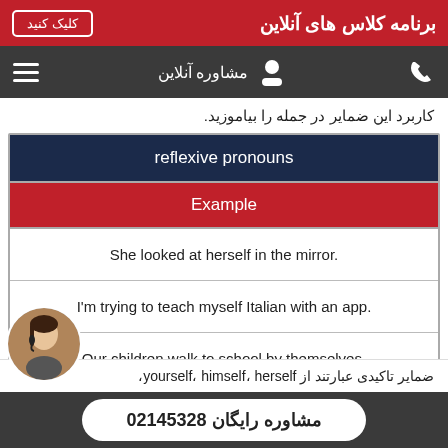برنامه کلاس های آنلاین — کلیک کنید
مشاوره آنلاین
کاربرد این ضمایر در جمله را بیاموزید.
| reflexive pronouns | Example |
| --- | --- |
| She looked at herself in the mirror. |
| I'm trying to teach myself  Italian with an app. |
| Our children walk to school by themselves. |
ضمایر تاکیدی عبارتند از  herself، himself، yourself،
مشاوره رایگان 02145328